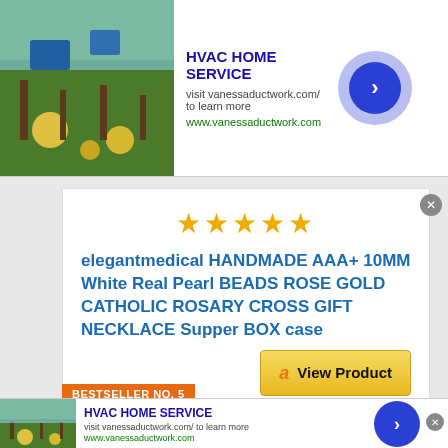[Figure (screenshot): Top ad banner: HVAC HOME SERVICE with gardening image, visit vanessaductwork.com/ to learn more, www.vanessaductwork.com, blue arrow button and close X]
★★★★★
elegantmedical HANDMADE AAA+ 10MM White Real Pearl BEADS ROSE GOLD CATHOLIC ROSARY CROSS GIFT NECKLACE Supper BOX case
[Figure (screenshot): Amazon View Product button with orange Amazon logo]
BESTSELLER NO. 5
[Figure (screenshot): Bottom ad banner: HVAC HOME SERVICE with gardening image, visit vanessaductwork.com/ to learn more, www.vanessaductwork.com, blue arrow button and close X]